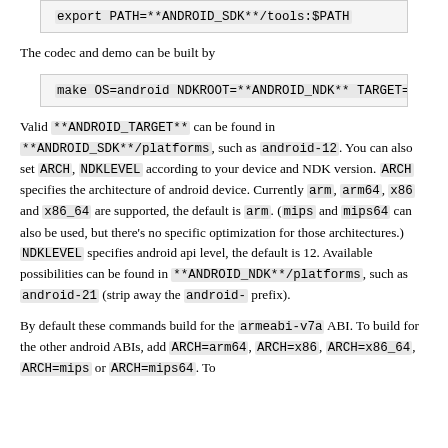export PATH=**ANDROID_SDK**/tools:$PATH
The codec and demo can be built by
make OS=android NDKROOT=**ANDROID_NDK** TARGET=**...
Valid **ANDROID_TARGET** can be found in **ANDROID_SDK**/platforms, such as android-12. You can also set ARCH, NDKLEVEL according to your device and NDK version. ARCH specifies the architecture of android device. Currently arm, arm64, x86 and x86_64 are supported, the default is arm. (mips and mips64 can also be used, but there's no specific optimization for those architectures.) NDKLEVEL specifies android api level, the default is 12. Available possibilities can be found in **ANDROID_NDK**/platforms, such as android-21 (strip away the android- prefix).
By default these commands build for the armeabi-v7a ABI. To build for the other android ABIs, add ARCH=arm64, ARCH=x86, ARCH=x86_64, ARCH=mips or ARCH=mips64. To